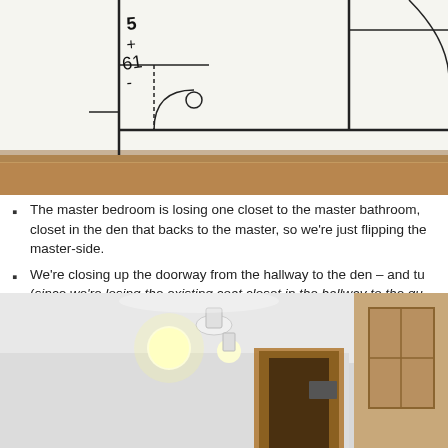[Figure (photo): Hand-drawn floor plan sketch on white paper lying on carpet/cork surface, with handwritten dimensions and room outlines visible]
The master bedroom is losing one closet to the master bathroom, closet in the den that backs to the master, so we're just flipping the master-side.
We're closing up the doorway from the hallway to the den – and tu (since we're losing the existing coat closet in the hallway to the gu
[Figure (photo): Interior room under construction showing ceiling with exposed light bulbs/fixtures, wooden door frame rough opening, and window framing on the right side, white walls]